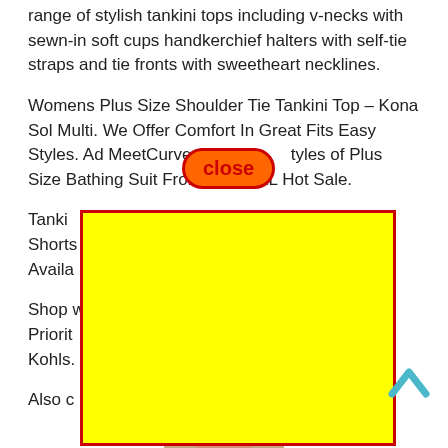range of stylish tankini tops including v-necks with sewn-in soft cups handkerchief halters with self-tie straps and tie fronts with sweetheart necklines.
Womens Plus Size Shoulder Tie Tankini Top – Kona Sol Multi. We Offer Comfort In Great Fits Easy Styles. Ad MeetCurve Great [close] tyles of Plus Size Bathing Suit From M To 4XL Hot Sale.
Tanki[...] Shorts[...] Is Availa[...] yles.
Shop w[...] Priorit[...] at Kohls.
Also c[...]
[Figure (other): Yellow advertisement blocking rectangle with red border overlay covering part of the page content]
[Figure (other): Close button in red-outlined orange pill shape with bold red text 'close']
[Figure (other): Cyan upward chevron arrow icon in bottom-right area]
[Figure (photo): Partial photo of a person at the bottom of the page]